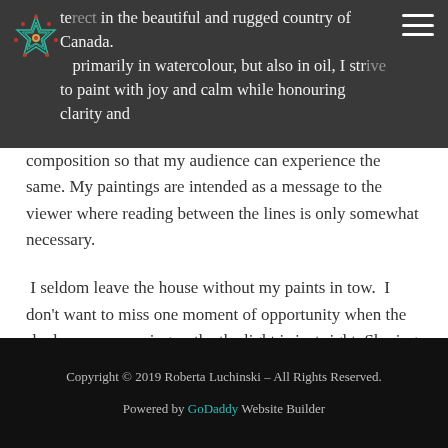te... in the beautiful and rugged country of Canada. ...primarily in watercolour, but also in oil, I stra... to paint with joy and calm while honouring clarity and
composition so that my audience can experience the same. My paintings are intended as a message to the viewer where reading between the lines is only somewhat necessary.
I seldom leave the house without my paints in tow. I don't want to miss one moment of opportunity when the shadows are amazing or the the light is just right. Sharing my sense of wonder with others gives me great pleasure and a purpose for my artistic pursuits.
Copyright © 2019 Roberta Luchinski – All Rights Reserved.
Powered by GoDaddy Website Builder